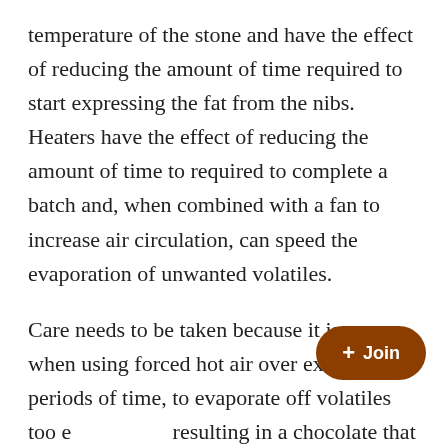temperature of the stone and have the effect of reducing the amount of time required to start expressing the fat from the nibs. Heaters have the effect of reducing the amount of time to required to complete a batch and, when combined with a fan to increase air circulation, can speed the evaporation of unwanted volatiles.
Care needs to be taken because it is easy, when using forced hot air over extended periods of time, to evaporate off volatiles too e[xcessively,] resulting in a chocolate that smells and tastes [flat.]